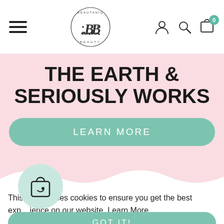[Figure (screenshot): Navigation bar with hamburger menu on left, Beautaniq Beauty logo in center, user/search/cart icons on right with cart badge showing 0]
THE EARTH & SERIOUSLY WORKS
[Figure (other): LEARN MORE button in sage green/teal rounded pill style]
This website uses cookies to ensure you get the best experience on our website. Learn More
[Figure (other): GOT IT! button in sage green/teal rounded pill style]